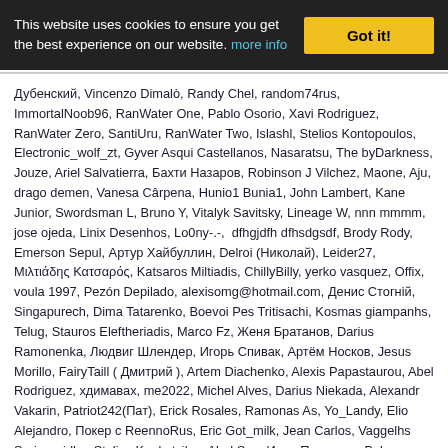This website uses cookies to ensure you get the best experience on our website. more info | Got it!
Дубенский, Vincenzo Dimalò, Randy Chel, random74rus, ImmortalNoob96, RanWater One, Pablo Osorio, Xavi Rodriguez, RanWater Zero, SantiUru, RanWater Two, Islashl, Stelios Kontopoulos, Electronic_wolf_zt, Gyver Asqui Castellanos, Nasaratsu, The byDarkness, Jouze, Ariel Salvatierra, Бахти Назаров, Robinson J Vilchez, Maone, Aju, drago demen, Vanesa Cârpena, Hunio1 Bunia1, John Lambert, Kane Junior, Swordsman L, Bruno Y, Vitalyk Savitsky, Lineage W, nnn mmmm, jose ojeda, Linix Desenhos, Lo0ny-.-,  dfhgjdfh dfhsdgsdf, Brody Rody, Emerson Sepul, Артур Хайбуллин, Delroi (Николай), Leider27, Μιλτιάδης Κατσαρός, Katsaros Miltiadis, ChillyBilly, yerko vasquez, Offix, voula 1997, Pezón Depilado, alexisomg@hotmail.com, Денис Стогній, Singapurech, Dima Tatarenko, Boevoi Pes Tritisachi, Kosmas giampanhs, Telug, Stauros Eleftheriadis, Marco Fz, Женя Братанов, Darius Ramonenka, Людвиг Шлендер, Игорь Спивак, Артём Носков, Jesus Morillo, FairyTaill ( Дмитрий ), Artem Diachenko, Alexis Papastaurou, Abel Rodriguez, хдимавах, me2022, Michel Alves, Darius Niekada, Alexandr Vakarin, Patriot242(Пат), Erick Rosales, Ramonas As, Yo_Landy, Elio Alejandro, Покер с ReennoRus, Eric Got_milk, Jean Carlos, Vaggelhs Sarisavvidhs, Stelios Koukotzilas, Abol San, Илья Пронькин, Bob Nijegorodcev, Franco Lupi, Коля Проста, Franco Bonacci, Vladsyslav Yanevych, enko, Артём Газиев, Denis Drop, Ortak PC, Алексей Герасименко, John Valqui Dominguez, Spike Wike, Walexy Ruhan, Илюха Беля, Ернест Товдер, Андрей Еремеев, Απολωλός Πρόβατον, Athos Black, Pablo juan Ruiz, David Arrua, Kyou, Ungzd Ungzd, Ivanov.DM.456576, Jaime López Aguayo, Jonathan Villanueva, Ricardo Henriquez, Денис Шаповалов, George Kyritshs, Денис Плотников,